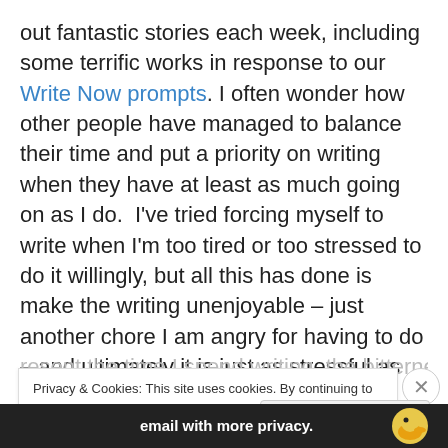out fantastic stories each week, including some terrific works in response to our Write Now prompts. I often wonder how other people have managed to balance their time and put a priority on writing when they have at least as much going on as I do.  I've tried forcing myself to write when I'm too tired or too stressed to do it willingly, but all this has done is make the writing unenjoyable – just another chore I am angry for having to do – and ultimately it is just as stressful as anything else I might have on my to-do list.  I don't know about anyone else, but when I
resent the time I spend writing, the bitterness and anger
Privacy & Cookies: This site uses cookies. By continuing to use this website, you agree to their use.
To find out more, including how to control cookies, see here: Cookie Policy
Close and accept
[Figure (other): Bottom banner with text 'email with more privacy.' and a duck logo icon on dark background]